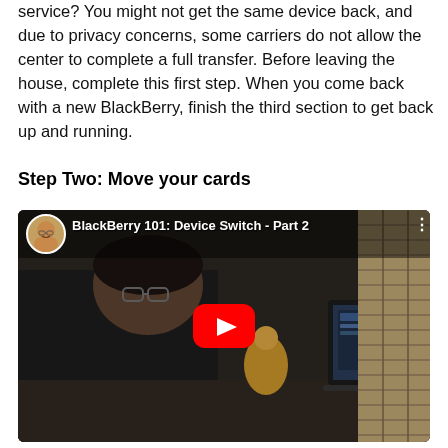service? You might not get the same device back, and due to privacy concerns, some carriers do not allow the center to complete a full transfer. Before leaving the house, complete this first step. When you come back with a new BlackBerry, finish the third section to get back up and running.
Step Two: Move your cards
[Figure (screenshot): YouTube video thumbnail showing a man at a desk with a laptop, with the video title 'BlackBerry 101: Device Switch - Part 2' and a YouTube play button overlay.]